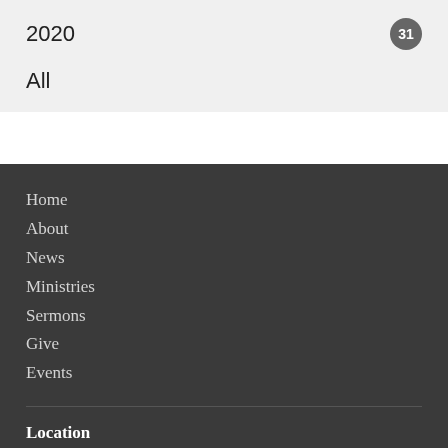2020
31
All
Home
About
News
Ministries
Sermons
Give
Events
Location
91 S. Cromartie St.
Hazlehurst, GA